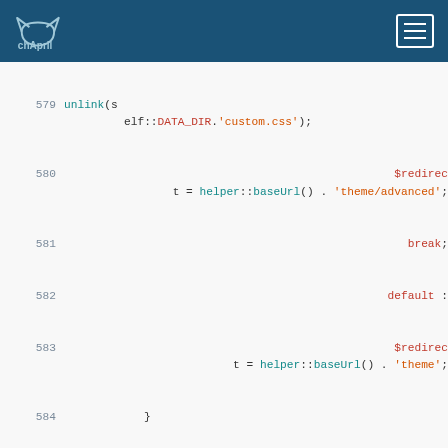[Figure (screenshot): chApril website header with logo and hamburger menu on dark blue background]
579    unlink(self::DATA_DIR.'custom.css');
580    $redirect = helper::baseUrl() . 'theme/advanced';
581    break;
582    default :
583    $redirect = helper::baseUrl() . 'theme';
584    }
585    
586    // Valeurs en sortie
587    $this->addOutput([
588    'notification' => 'Réinitialisation effectuée',
589    'redirect' => $redirect,
590    'state' => true
591    ]);
592    } else {
593    // Valeurs en sortie
594    $this->addOutput([